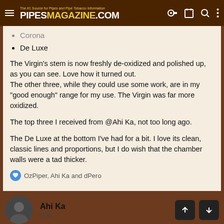PipesMagazine.com — The #1 Source for Pipes and Pipe Tobacco Information
Corona
De Luxe
The Virgin's stem is now freshly de-oxidized and polished up, as you can see. Love how it turned out.
The other three, while they could use some work, are in my "good enough" range for my use. The Virgin was far more oxidized.
The top three I received from @Ahi Ka, not too long ago.
The De Luxe at the bottom I've had for a bit. I love its clean, classic lines and proportions, but I do wish that the chamber walls were a tad thicker.
OzPiper, Ahi Ka and dPero
Ahi Ka
Lifer